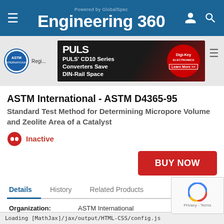Engineering 360 - Powered by GlobalSpec
[Figure (screenshot): Engineering 360 website header with blue background, hamburger menu icon, Engineering 360 logo, user and search icons]
[Figure (screenshot): Navigation strip with ASTM logo and PULS CD10 Series advertisement banner for Digi-Key]
ASTM International - ASTM D4365-95
Standard Test Method for Determining Micropore Volume and Zeolite Area of a Catalyst
Inactive
BUY NOW
Details	History	Related Products
| Field | Value |
| --- | --- |
| Organization: | ASTM International |
| Publication Date: | 01 August 1995 |
Loading [MathJax]/jax/output/HTML-CSS/config.js